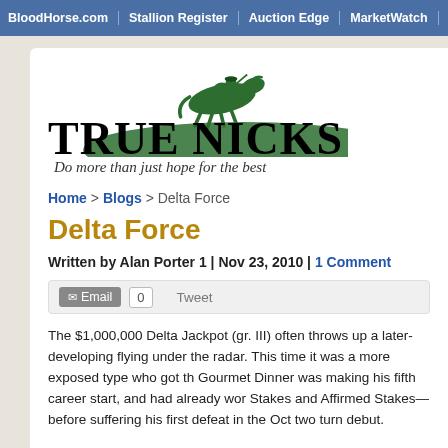BloodHorse.com | Stallion Register | Auction Edge | MarketWatch | Blood-Ho
[Figure (logo): TrueNicks logo with horse and jockey silhouette in green, large bold serif text 'TRUE NICKS', tagline 'Do more than just hope for the best' in italic]
Home > Blogs > Delta Force
Delta Force
Written by Alan Porter 1 | Nov 23, 2010 | 1 Comment
Email  0  Tweet
The $1,000,000 Delta Jackpot (gr. III) often throws up a later-developing flying under the radar. This time it was a more exposed type who got th Gourmet Dinner was making his fifth career start, and had already wor Stakes and Affirmed Stakes—before suffering his first defeat in the Oct two turn debut.